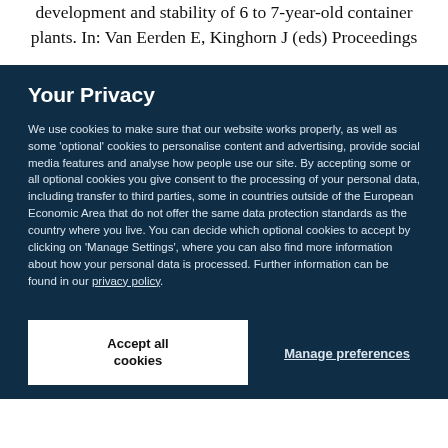development and stability of 6 to 7-year-old container plants. In: Van Eerden E, Kinghorn J (eds) Proceedings
Your Privacy
We use cookies to make sure that our website works properly, as well as some 'optional' cookies to personalise content and advertising, provide social media features and analyse how people use our site. By accepting some or all optional cookies you give consent to the processing of your personal data, including transfer to third parties, some in countries outside of the European Economic Area that do not offer the same data protection standards as the country where you live. You can decide which optional cookies to accept by clicking on 'Manage Settings', where you can also find more information about how your personal data is processed. Further information can be found in our privacy policy.
Accept all cookies
Manage preferences